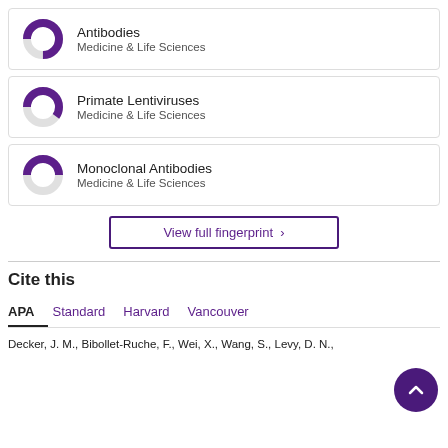[Figure (donut-chart): Donut chart showing approximately 75% fill, purple segment. Medicine & Life Sciences]
[Figure (donut-chart): Donut chart showing approximately 60% fill, purple segment. Medicine & Life Sciences]
[Figure (donut-chart): Donut chart showing approximately 50% fill, purple segment. Medicine & Life Sciences]
View full fingerprint >
Cite this
APA  Standard  Harvard  Vancouver
Decker, J. M., Bibollet-Ruche, F., Wei, X., Wang, S., Levy, D. N., ...